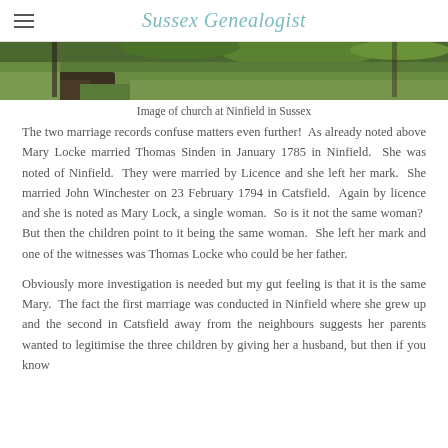Sussex Genealogist
[Figure (photo): Partial view of a church at Ninfield in Sussex — bottom strip of a photo showing grass and stone/dirt ground]
Image of church at Ninfield in Sussex
The two marriage records confuse matters even further!  As already noted above Mary Locke married Thomas Sinden in January 1785 in Ninfield.  She was noted of Ninfield.  They were married by Licence and she left her mark.  She married John Winchester on 23 February 1794 in Catsfield.  Again by licence and she is noted as Mary Lock, a single woman.  So is it not the same woman?  But then the children point to it being the same woman.  She left her mark and one of the witnesses was Thomas Locke who could be her father.
Obviously more investigation is needed but my gut feeling is that it is the same Mary.  The fact the first marriage was conducted in Ninfield where she grew up and the second in Catsfield away from the neighbours suggests her parents wanted to legitimise the three children by giving her a husband, but then if you know